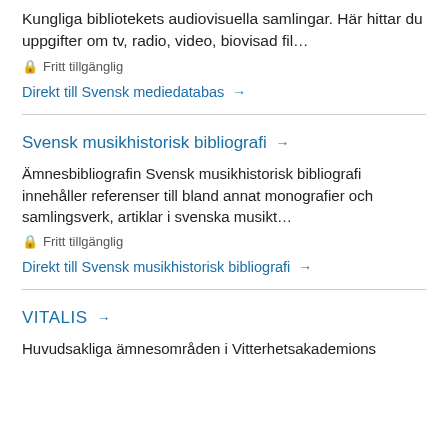Kungliga bibliotekets audiovisuella samlingar. Här hittar du uppgifter om tv, radio, video, biovisad fil…
🔒 Fritt tillgänglig
Direkt till Svensk mediedatabas →
Svensk musikhistorisk bibliografi →
Ämnesbibliografin Svensk musikhistorisk bibliografi innehåller referenser till bland annat monografier och samlingsverk, artiklar i svenska musikt…
🔒 Fritt tillgänglig
Direkt till Svensk musikhistorisk bibliografi →
VITALIS →
Huvudsakliga ämnesområden i Vitterhetsakademions